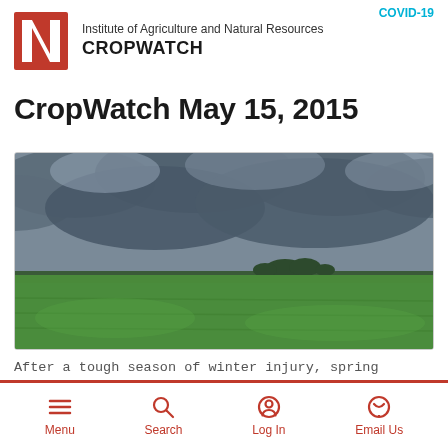Institute of Agriculture and Natural Resources CROPWATCH
CropWatch May 15, 2015
[Figure (photo): Wide agricultural field with lush green crop, dramatic overcast sky with heavy grey clouds, tree line visible on the horizon]
After a tough season of winter injury, spring storms, and with storms on the horizon, specialists from southeast
Menu  Search  Log In  Email Us